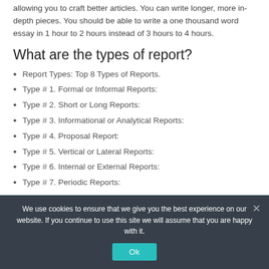allowing you to craft better articles. You can write longer, more in-depth pieces. You should be able to write a one thousand word essay in 1 hour to 2 hours instead of 3 hours to 4 hours.
What are the types of report?
Report Types: Top 8 Types of Reports.
Type # 1. Formal or Informal Reports:
Type # 2. Short or Long Reports:
Type # 3. Informational or Analytical Reports:
Type # 4. Proposal Report:
Type # 5. Vertical or Lateral Reports:
Type # 6. Internal or External Reports:
Type # 7. Periodic Reports:
We use cookies to ensure that we give you the best experience on our website. If you continue to use this site we will assume that you are happy with it.